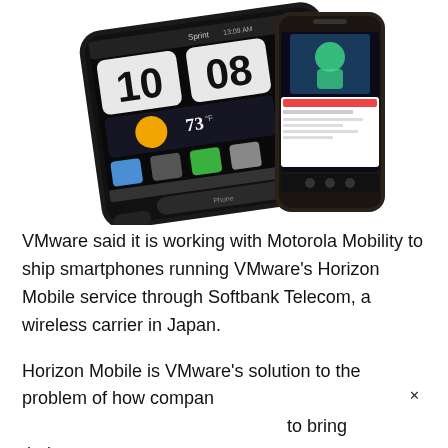[Figure (photo): Two Android smartphones side by side. Left: a large HTC EVO-style phone showing the Sprint home screen with clock showing 10:08, weather widget with sun icon showing 73 degrees, and app icons. Right: a smaller Motorola or Nexus-style phone showing an Android screen with a robot figure.]
VMware said it is working with Motorola Mobility to ship smartphones running VMware's Horizon Mobile service through Softbank Telecom, a wireless carrier in Japan.
Horizon Mobile is VMware's solution to the problem of how companies [to bring] their ow[n] [e...]